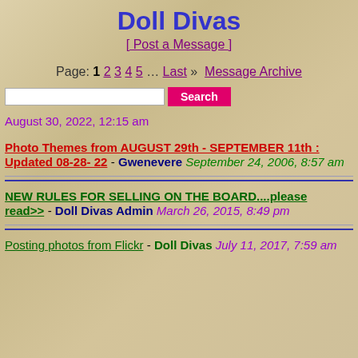Doll Divas
[ Post a Message ]
Page: 1 2 3 4 5 … Last » Message Archive
August 30, 2022, 12:15 am
Photo Themes from AUGUST 29th - SEPTEMBER 11th : Updated 08-28- 22 - Gwenevere September 24, 2006, 8:57 am
NEW RULES FOR SELLING ON THE BOARD....please read>> - Doll Divas Admin March 26, 2015, 8:49 pm
Posting photos from Flickr - Doll Divas July 11, 2017, 7:59 am